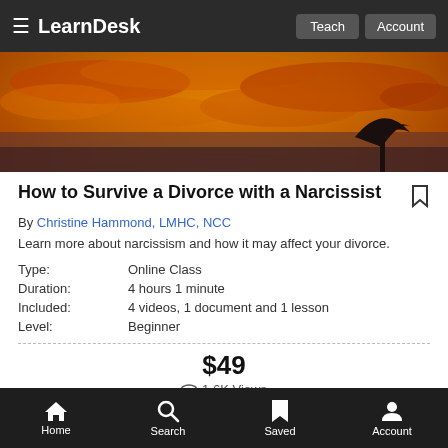LearnDesk — Teach | Account
[Figure (photo): Dramatic orange/golden fiery sky with clouds and a silhouette of a tree — hero banner image for the course]
How to Survive a Divorce with a Narcissist
By Christine Hammond, LMHC, NCC
Learn more about narcissism and how it may affect your divorce.
| Type: | Online Class |
| Duration: | 4 hours 1 minute |
| Included: | 4 videos, 1 document and 1 lesson |
| Level: | Beginner |
$49
1.6K Views
Buy Now
Home | Search | Saved | Account